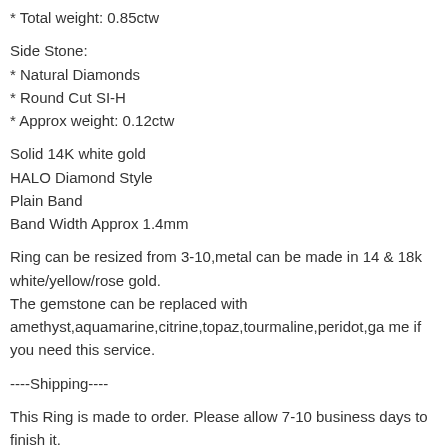* Total weight: 0.85ctw
Side Stone:
* Natural Diamonds
* Round Cut SI-H
* Approx weight: 0.12ctw
Solid 14K white gold
HALO Diamond Style
Plain Band
Band Width Approx 1.4mm
Ring can be resized from 3-10,metal can be made in 14 & 18k white/yellow/rose gold.
The gemstone can be replaced with amethyst,aquamarine,citrine,topaz,tourmaline,peridot,ga me if you need this service.
----Shipping----
This Ring is made to order. Please allow 7-10 business days to finish it.
The Item will be shipped by express shipping method such as DHL,it normally takes 2-4 business days for arrival.